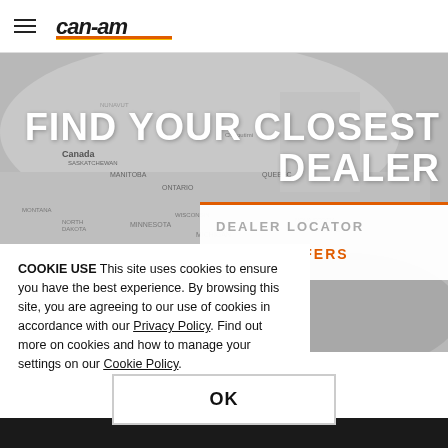Can-Am navigation header with hamburger menu and logo
[Figure (map): Greyscale map of North America showing Canada, US states including Manitoba, Saskatchewan, Ontario, Quebec, North Dakota, South Dakota, Minnesota, Michigan, Wyoming, and other regions]
FIND YOUR CLOSEST DEALER
DEALER LOCATOR
LOCAL OFFERS
COOKIE USE  This site uses cookies to ensure you have the best experience. By browsing this site, you are agreeing to our use of cookies in accordance with our  Privacy Policy. Find out more on cookies and how to manage your settings on our  Cookie Policy.
OK